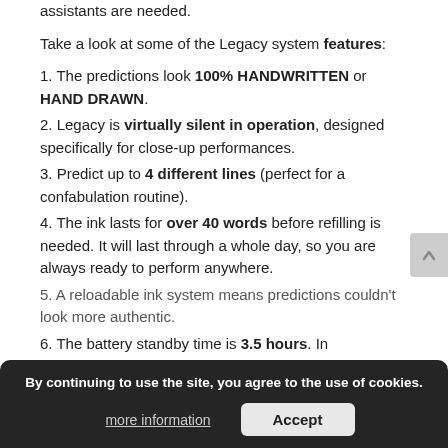assistants are needed.
Take a look at some of the Legacy system features:
1. The predictions look 100% HANDWRITTEN or HAND DRAWN.
2. Legacy is virtually silent in operation, designed specifically for close-up performances.
3. Predict up to 4 different lines (perfect for a confabulation routine).
4. The ink lasts for over 40 words before refilling is needed. It will last through a whole day, so you are always ready to perform anywhere.
5. A reloadable ink system means predictions couldn't look more authentic.
6. The battery standby time is 3.5 hours. In
By continuing to use the site, you agree to the use of cookies.